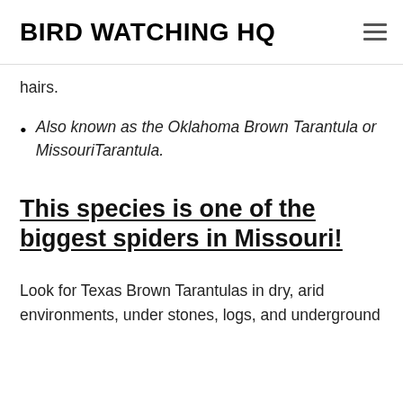BIRD WATCHING HQ
hairs.
Also known as the Oklahoma Brown Tarantula or MissouriTarantula.
This species is one of the biggest spiders in Missouri!
Look for Texas Brown Tarantulas in dry, arid environments, under stones, logs, and underground